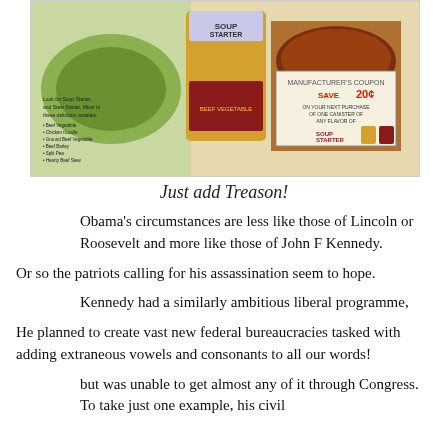[Figure (photo): Advertisement for Soup Starter and Stew Starter products showing cans, a bowl of soup, and a 'Save 20 cents' coupon]
Just add Treason!
Obama's circumstances are less like those of Lincoln or Roosevelt and more like those of John F Kennedy.
Or so the patriots calling for his assassination seem to hope.
Kennedy had a similarly ambitious liberal programme,
He planned to create vast new federal bureaucracies tasked with adding extraneous vowels and consonants to all our words!
but was unable to get almost any of it through Congress. To take just one example, his civil